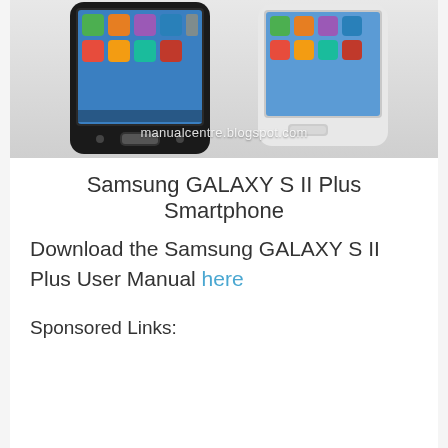[Figure (photo): Two Samsung GALAXY S II Plus smartphones shown side by side — one black (left) and one white (right), both displaying app icons on their screens. Watermark text 'manualcentre.blogspot.com' overlaid on image.]
Samsung GALAXY S II Plus Smartphone
Download the Samsung GALAXY S II Plus User Manual here
Sponsored Links: